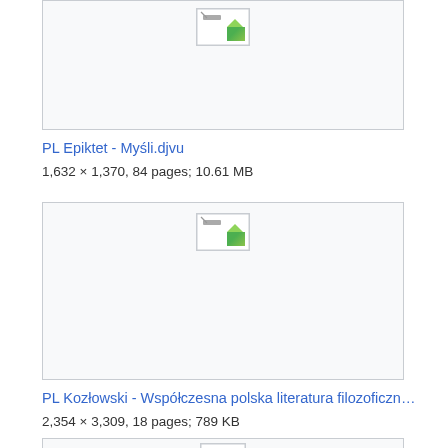[Figure (screenshot): Broken image thumbnail placeholder for PL Epiktet - Myśli.djvu, showing a small broken image icon]
PL Epiktet - Myśli.djvu
1,632 × 1,370, 84 pages; 10.61 MB
[Figure (screenshot): Broken image thumbnail placeholder for PL Kozłowski - Współczesna polska literatura filozoficzn...]
PL Kozłowski - Współczesna polska literatura filozoficzn…
2,354 × 3,309, 18 pages; 789 KB
[Figure (screenshot): Broken image thumbnail placeholder for third file entry]